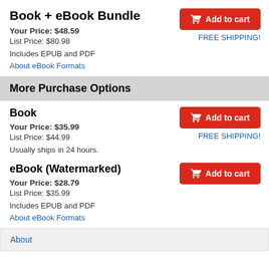Book + eBook Bundle
Your Price: $48.59
List Price: $80.98
Includes EPUB and PDF
About eBook Formats
More Purchase Options
Book
Your Price: $35.99
List Price: $44.99
Usually ships in 24 hours.
eBook (Watermarked)
Your Price: $28.79
List Price: $35.99
Includes EPUB and PDF
About eBook Formats
About